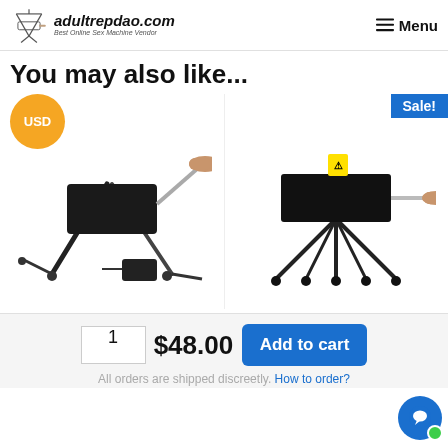adultrepdao.com — Best Online Sex Machine Vendor — Menu
You may also like...
[Figure (photo): Product photo of a sex machine device with attachment, with USD badge and Sale! badges visible]
1  $48.00  Add to cart
All orders are shipped discreetly. How to order?